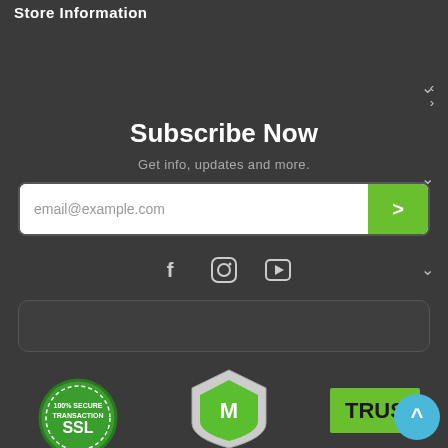Store Information
Subscribe Now
Get info, updates and more.
[Figure (screenshot): Email subscription input field with placeholder text 'email@example.com' and a green submit button with a right arrow]
[Figure (infographic): Social media icons: Facebook, Instagram, YouTube]
[Figure (other): Promotional bar with rounded border]
[Figure (infographic): Security trust badges: SSL 100% Secure Transaction badge (green), McAfee shield badge (green/grey), TrustE badge (green/black)]
[Figure (other): Scroll to top button - teal circle with upward chevron]